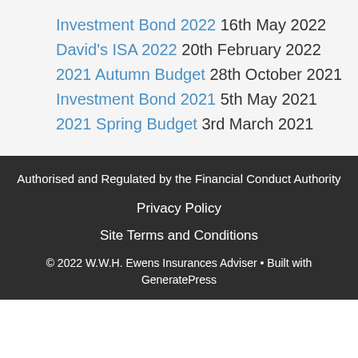Investment Bond 2022 16th May 2022
David's ISA 2022 20th February 2022
2021 Autumn Budget 28th October 2021
Investment Bond 2021 5th May 2021
2021 Spring Budget 3rd March 2021
Authorised and Regulated by the Financial Conduct Authority
Privacy Policy
Site Terms and Conditions
© 2022 W.W.H. Ewens Insurances Adviser • Built with GeneratePress